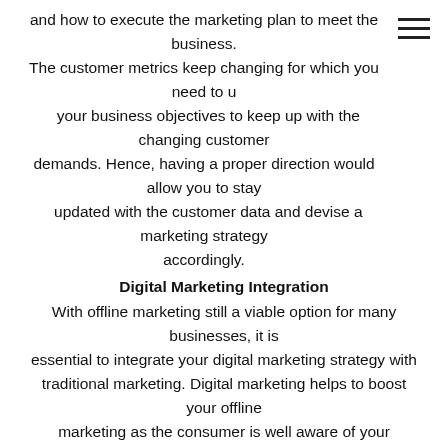and how to execute the marketing plan to meet the business. The customer metrics keep changing for which you need to update your business objectives to keep up with the changing customer demands. Hence, having a proper direction would allow you to stay updated with the customer data and devise a marketing strategy accordingly.
Digital Marketing Integration
With offline marketing still a viable option for many businesses, it is essential to integrate your digital marketing strategy with traditional marketing. Digital marketing helps to boost your offline marketing as the consumer is well aware of your products and services through the digital channels. Hence, it is vital that your marketing plan should be aligned with the digital marketing strategies to give consumers the right direction.
Customer Engagement
A company’s success cannot solely rely on sales nowadays. The evolution of internet has totally changed the marketing focus of companies as they find opportunities to improve their products and